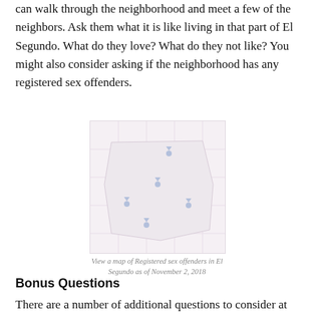can walk through the neighborhood and meet a few of the neighbors. Ask them what it is like living in that part of El Segundo. What do they love? What do they not like? You might also consider asking if the neighborhood has any registered sex offenders.
[Figure (map): A map showing registered sex offender locations in El Segundo, with several blue pin markers scattered across a light-colored street map.]
View a map of Registered sex offenders in El Segundo as of November 2, 2018
Bonus Questions
There are a number of additional questions to consider at